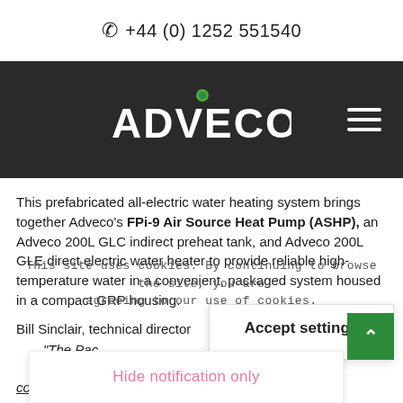+44 (0) 1252 551540
[Figure (logo): ADVECO company logo in white text on dark background with green leaf/energy icon above the V]
This prefabricated all-electric water heating system brings together Adveco's FPi-9 Air Source Heat Pump (ASHP), an Adveco 200L GLC indirect preheat tank, and Adveco 200L GLE direct electric water heater to provide reliable high-temperature water in a convenient, packaged system housed in a compact GRP housing.
Bill Sinclair, technical director
“The Pac[kage...] leverage[...] construction to provide a standardised
This site uses cookies. By continuing to browse the site, you are agreeing to our use of cookies.
Accept settings
Hide notification only